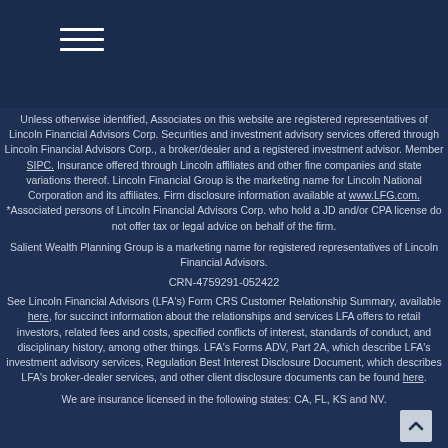Unless otherwise identified, Associates on this website are registered representatives of Lincoln Financial Advisors Corp. Securities and investment advisory services offered through Lincoln Financial Advisors Corp., a broker/dealer and a registered investment advisor. Member SIPC. Insurance offered through Lincoln affiliates and other fine companies and state variations thereof. Lincoln Financial Group is the marketing name for Lincoln National Corporation and its affiliates. Firm disclosure information available at www.LFG.com. *Associated persons of Lincoln Financial Advisors Corp. who hold a JD and/or CPA license do not offer tax or legal advice on behalf of the firm.
Salient Wealth Planning Group is a marketing name for registered representatives of Lincoln Financial Advisors.
CRN-4759291-052422
See Lincoln Financial Advisors (LFA's) Form CRS Customer Relationship Summary, available here, for succinct information about the relationships and services LFA offers to retail investors, related fees and costs, specified conflicts of interest, standards of conduct, and disciplinary history, among other things. LFA's Forms ADV, Part 2A, which describe LFA's investment advisory services, Regulation Best Interest Disclosure Document, which describes LFA's broker-dealer services, and other client disclosure documents can be found here.
We are insurance licensed in the following states: CA, FL, KS and NV.